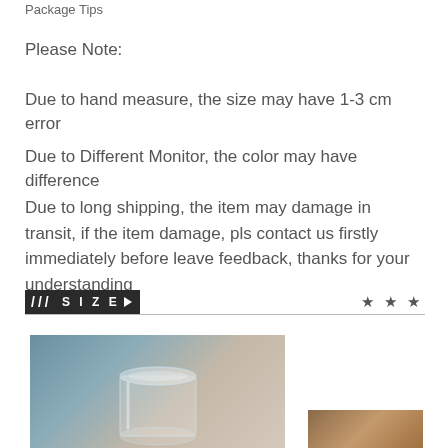Package Tips
Please Note:
Due to hand measure, the size may have 1-3 cm error
Due to Different Monitor, the color may have difference
Due to long shipping, the item may damage in transit, if the item damage, pls contact us firstly immediately before leave feedback, thanks for your understanding
[Figure (logo): SIZED logo banner with slash marks and play button icon, with three stars on right side]
[Figure (photo): Photo of a glass jar/container on a blue-gray and beige background]